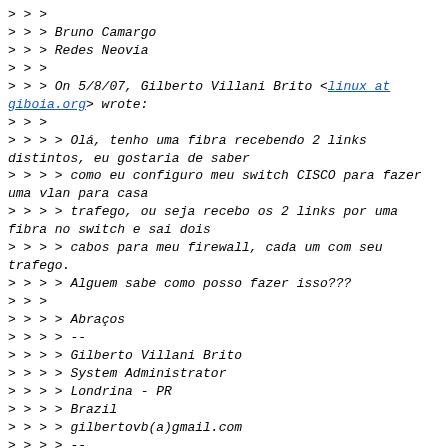> > >
> > > Bruno Camargo
> > > Redes Neovia
> > >
> > > On 5/8/07, Gilberto Villani Brito <linux at giboia.org> wrote:
> > >
> > > > Olá, tenho uma fibra recebendo 2 links distintos, eu gostaria de saber
> > > > como eu configuro meu switch CISCO para fazer uma vlan para casa
> > > > trafego, ou seja recebo os 2 links por uma fibra no switch e sai dois
> > > > cabos para meu firewall, cada um com seu trafego.
> > > > Alguem sabe como posso fazer isso???
> > >
> > > > Abraços
> > > > --
> > > > Gilberto Villani Brito
> > > > System Administrator
> > > > Londrina - PR
> > > > Brazil
> > > > gilbertovb(a)gmail.com
> > > > --
> > > > gter list
https://eng.registro.br/mailman/listinfo/gter
> > >
> > >
> > >